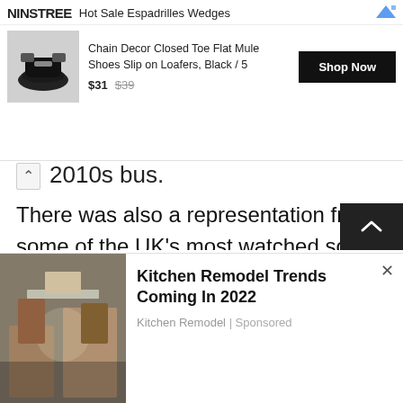[Figure (screenshot): Top advertisement banner for NINSTREE Hot Sale Espadrilles Wedges featuring Chain Decor Closed Toe Flat Mule Shoes, priced at $31 (was $39), with a Shop Now button]
2010s bus.
There was also a representation from some of the UK's most watched soap operas: from Coronation Street, the set of which the Queen herself visited only last year, actor William Roache, who plays Ken Barlow, was riding on top of the 1960s bus; while East Enders, which recently saw a cameo from the Prince of Wales and the Duchess of Cornwall, was represented by actor Rudolph Walker in the 1960s bus.
[Figure (screenshot): Bottom advertisement for Kitchen Remodel Trends Coming In 2022 by Kitchen Remodel, Sponsored, with a kitchen photo on the left]